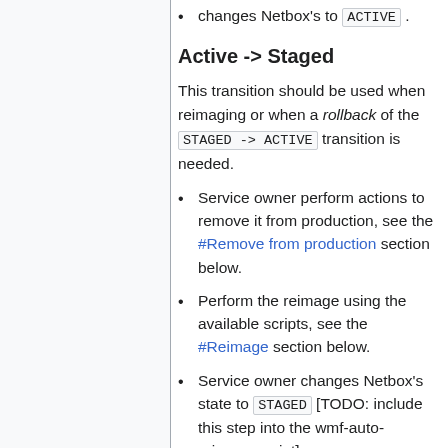changes Netbox's to ACTIVE .
Active -> Staged
This transition should be used when reimaging or when a rollback of the STAGED -> ACTIVE transition is needed.
Service owner perform actions to remove it from production, see the #Remove from production section below.
Perform the reimage using the available scripts, see the #Reimage section below.
Service owner changes Netbox's state to STAGED [TODO: include this step into the wmf-auto-reimage script]
Active -> Failed